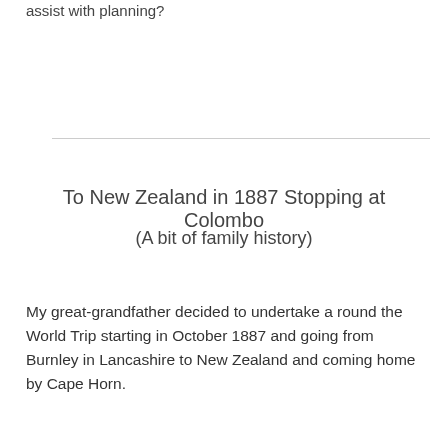assist with planning?
To New Zealand in 1887 Stopping at Colombo
(A bit of family history)
My great-grandfather decided to undertake a round the World Trip starting in October 1887 and going from Burnley in Lancashire to New Zealand and coming home by Cape Horn.